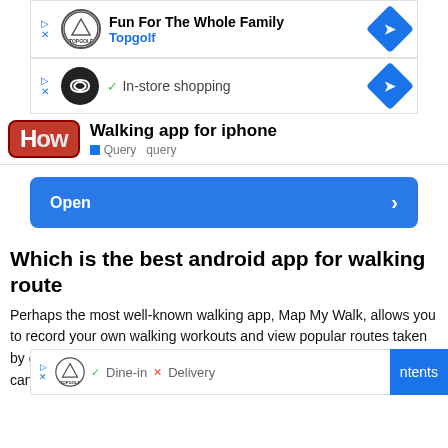[Figure (screenshot): Advertisement banner for Topgolf with logo, text 'Fun For The Whole Family' and navigation arrow]
[Figure (screenshot): Advertisement banner with black circle logo and 'In-store shopping' text with checkmark]
[Figure (screenshot): HOW website header with 'Walking app for iphone' title and Query tags]
[Figure (screenshot): Blue 'Open' button with right arrow]
Which is the best android app for walking route
Perhaps the most well-known walking app, Map My Walk, allows you to record your own walking workouts and view popular routes taken by other people in your area. Once you've found a route you like, you can save it for later.
[Figure (screenshot): Bottom advertisement banner with Topgolf logo showing Dine-in and Delivery options, with navigation diamond and Table of Contents tab]